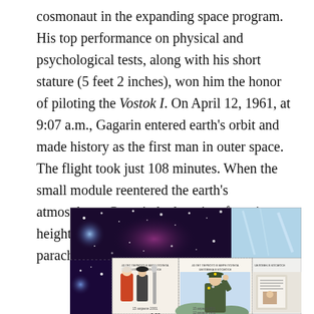cosmonaut in the expanding space program. His top performance on physical and psychological tests, along with his short stature (5 feet 2 inches), won him the honor of piloting the Vostok I. On April 12, 1961, at 9:07 a.m., Gagarin entered earth's orbit and made history as the first man in outer space. The flight took just 108 minutes. When the small module reentered the earth's atmosphere, Gagarin had to eject from it at a height of more than four miles, then parachute down.
[Figure (photo): Russian postage stamps (РОССИЯ 3.00) showing scenes related to space and Gagarin including cosmonauts, a rocket, and Gagarin in military uniform saluting, arranged in a stamp sheet.]